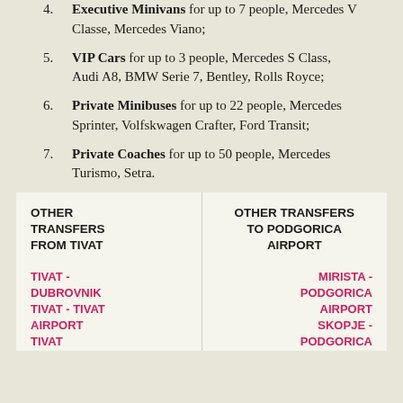4. Executive Minivans for up to 7 people, Mercedes V Classe, Mercedes Viano;
5. VIP Cars for up to 3 people, Mercedes S Class, Audi A8, BMW Serie 7, Bentley, Rolls Royce;
6. Private Minibuses for up to 22 people, Mercedes Sprinter, Volfskwagen Crafter, Ford Transit;
7. Private Coaches for up to 50 people, Mercedes Turismo, Setra.
| OTHER TRANSFERS FROM TIVAT | OTHER TRANSFERS TO PODGORICA AIRPORT |
| --- | --- |
| TIVAT - DUBROVNIK
TIVAT - TIVAT AIRPORT
TIVAT | MIRISTA - PODGORICA AIRPORT
SKOPJE - PODGORICA |